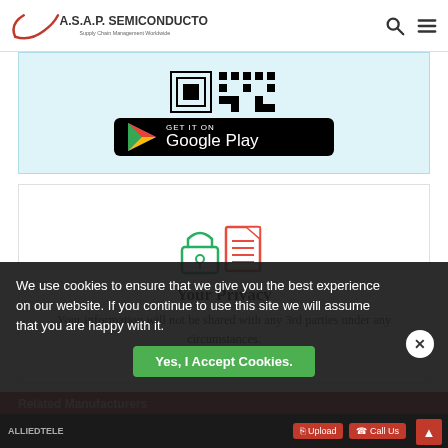A.S.A.P. SEMICONDUCTOR Supply Chain Management Worldwide
[Figure (screenshot): QR code and Get it on Google Play button on a light blue background]
[Figure (illustration): Privacy icon with lock and document, heading 'Your Privacy', text 'Your information will not be shared with any 3rd parties under any circumstances.']
Related Manufacturers
We use cookies to ensure that we give you the best experience on our website. If you continue to use this site we will assume that you are happy with it.
Yes, I Accept Cookies.